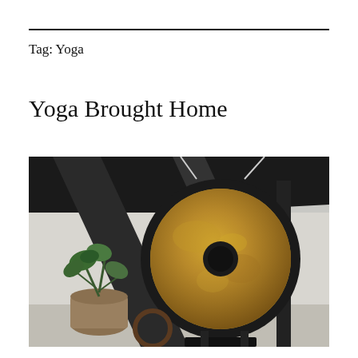Tag: Yoga
Yoga Brought Home
[Figure (photo): A large golden gong with a black circular frame leaning against a white wall in a studio or attic space with dark wooden beams. A potted green plant in a burlap sack sits to the left, and a small wooden ring lies on the floor in front.]